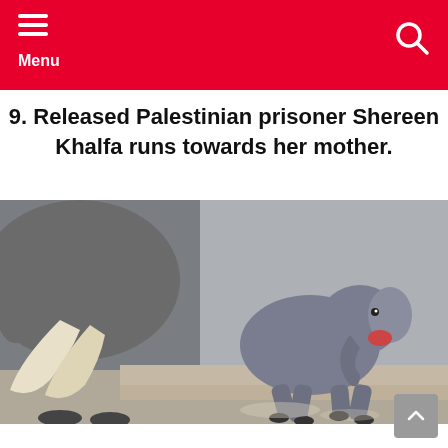Menu
9. Released Palestinian prisoner Shereen Khalfa runs towards her mother.
[Figure (photo): A baby elephant running with mouth open next to an adult elephant with tusks, in a stone enclosure.]